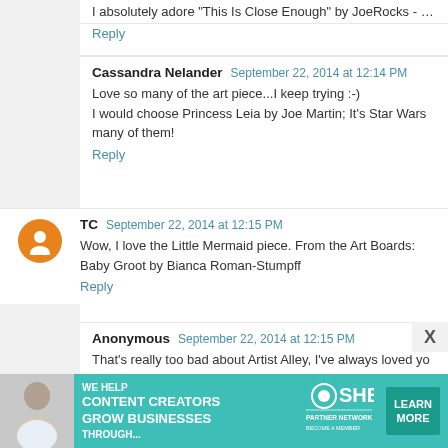I absolutely adore 'This Is Close Enough' by JoeRocks - so...
Reply
Cassandra Nelander  September 22, 2014 at 12:14 PM
Love so many of the art piece...I keep trying :-)
I would choose Princess Leia by Joe Martin; It's Star Wars many of them!
Reply
TC  September 22, 2014 at 12:15 PM
Wow, I love the Little Mermaid piece. From the Art Boards: Baby Groot by Bianca Roman-Stumpff
Reply
Anonymous  September 22, 2014 at 12:15 PM
That's really too bad about Artist Alley, I've always loved yo pieces!
I've had a look at the pinterest board, and the one pie...
[Figure (screenshot): SHE Partner Network advertisement banner - We help content creators grow businesses through...]